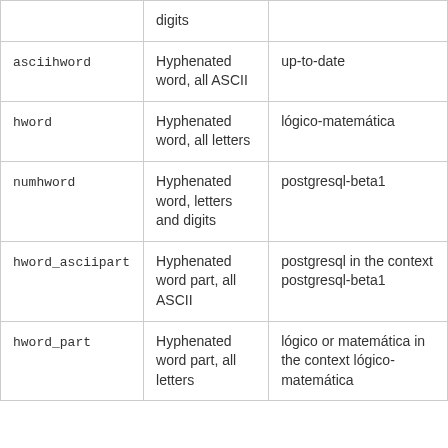| Token Type | Description | Example |
| --- | --- | --- |
|  | digits |  |
| asciihword | Hyphenated word, all ASCII | up-to-date |
| hword | Hyphenated word, all letters | lógico-matemática |
| numhword | Hyphenated word, letters and digits | postgresql-beta1 |
| hword_asciipart | Hyphenated word part, all ASCII | postgresql in the context postgresql-beta1 |
| hword_part | Hyphenated word part, all letters | lógico or matemática in the context lógico-matemática |